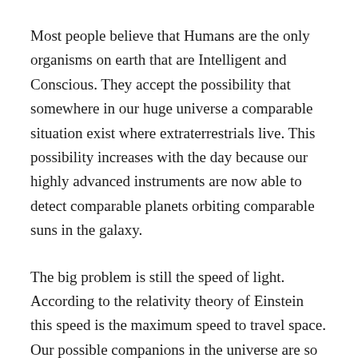Most people believe that Humans are the only organisms on earth that are Intelligent and Conscious. They accept the possibility that somewhere in our huge universe a comparable situation exist where extraterrestrials live. This possibility increases with the day because our highly advanced instruments are now able to detect comparable planets orbiting comparable suns in the galaxy.
The big problem is still the speed of light. According to the relativity theory of Einstein this speed is the maximum speed to travel space. Our possible companions in the universe are so far away that will be impossible to communicate with them.